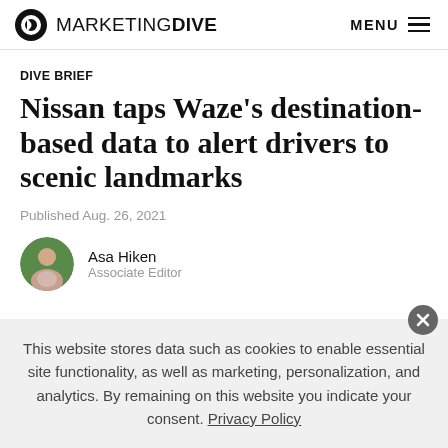MARKETING DIVE — MENU
DIVE BRIEF
Nissan taps Waze's destination-based data to alert drivers to scenic landmarks
Published Aug. 26, 2021
Asa Hiken
Associate Editor
This website stores data such as cookies to enable essential site functionality, as well as marketing, personalization, and analytics. By remaining on this website you indicate your consent. Privacy Policy